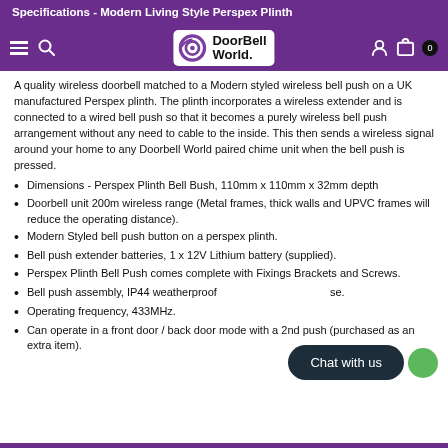Specifications - Modern Living Style Perspex Plinth
[Figure (logo): DoorBell World logo with circular doorbell icon and text 'DoorBell World.' on white background, shown in navigation bar]
A quality wireless doorbell matched to a Modern styled wireless bell push on a UK manufactured Perspex plinth. The plinth incorporates a wireless extender and is connected to a wired bell push so that it becomes a purely wireless bell push arrangement without any need to cable to the inside. This then sends a wireless signal around your home to any Doorbell World paired chime unit when the bell push is pressed.
Dimensions - Perspex Plinth Bell Bush, 110mm x 110mm x 32mm depth
Doorbell unit 200m wireless range (Metal frames, thick walls and UPVC frames will reduce the operating distance).
Modern Styled bell push button on a perspex plinth.
Bell push extender batteries, 1 x 12V Lithium battery (supplied).
Perspex Plinth Bell Push comes complete with Fixings Brackets and Screws.
Bell push assembly, IP44 weatherproof for outdoor use.
Operating frequency, 433MHz.
Can operate in a front door / back door mode with a 2nd push (purchased as an extra item).